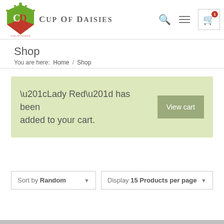[Figure (logo): Cup of Daisies logo with green and red shield, crown, and decorative text]
CUP OF DAISIES
Shop
You are here:  Home  /  Shop
“Lady Red” has been added to your cart.
View cart
Sort by Random
Display 15 Products per page